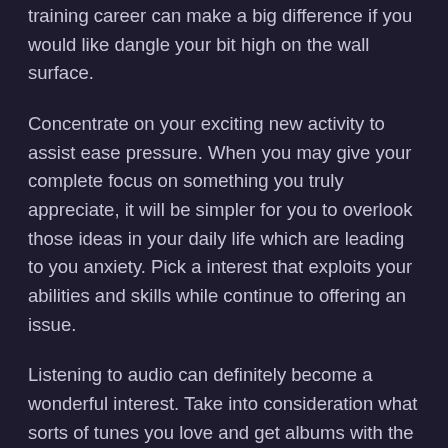training career can make a big difference if you would like dangle your bit high on the wall surface.
Concentrate on your exciting new activity to assist ease pressure. When you may give your complete focus on something you truly appreciate, it will be simpler for you to overlook those ideas in your daily life which are leading to you anxiety. Pick a interest that exploits your abilities and skills while continue to offering an issue.
Listening to audio can definitely become a wonderful interest. Take into consideration what sorts of tunes you love and get albums with the artists you enjoy. You could even find songs you prefer on-line, acquire it, then add it to an Mp3 music player to battle a busy schedule. It will help